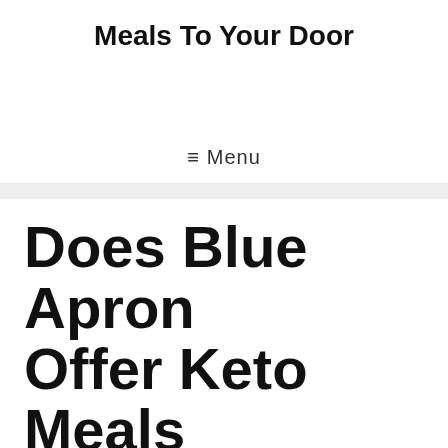Meals To Your Door
≡ Menu
Does Blue Apron Offer Keto Meals
The Full Guide to